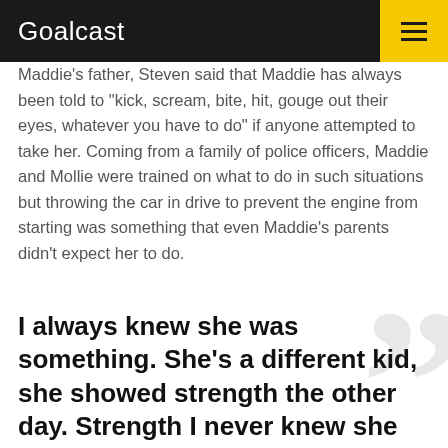Goalcast
Maddie’s father, Steven said that Maddie has always been told to “kick, scream, bite, hit, gouge out their eyes, whatever you have to do” if anyone attempted to take her. Coming from a family of police officers, Maddie and Mollie were trained on what to do in such situations but throwing the car in drive to prevent the engine from starting was something that even Maddie’s parents didn’t expect her to do.
I always knew she was something. She’s a different kid, she showed strength the other day. Strength I never knew she had, and I’ve been